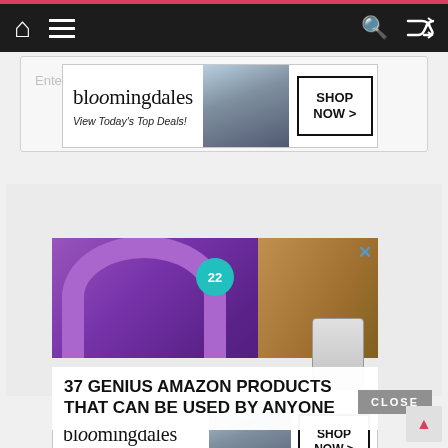[Figure (screenshot): Website navigation bar with dark background, home icon, hamburger menu icon on left, search and shuffle icons on right]
[Figure (screenshot): Bloomingdales advertisement banner: 'View Today's Top Deals!' with SHOP NOW button, fashion model with hat]
Enter your comment here...
[Figure (screenshot): Advertisement for BuzzFeed/22Words: '37 GENIUS AMAZON PRODUCTS THAT CAN BE USED BY ANYONE' overlaid on purple headphones image. Close X button visible.]
[Figure (screenshot): CLOSE button in gray]
[Figure (screenshot): Bloomingdales advertisement banner at bottom: 'View Today's Top Deals!' with SHOP NOW button, fashion model with hat]